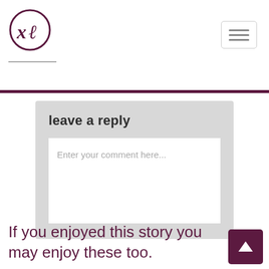[Figure (logo): XL logo inside a circle, purple/dark red color]
[Figure (other): Hamburger menu button with three horizontal lines, rounded rectangle border]
leave a reply
Enter your comment here...
If you enjoyed this story you may enjoy these too.